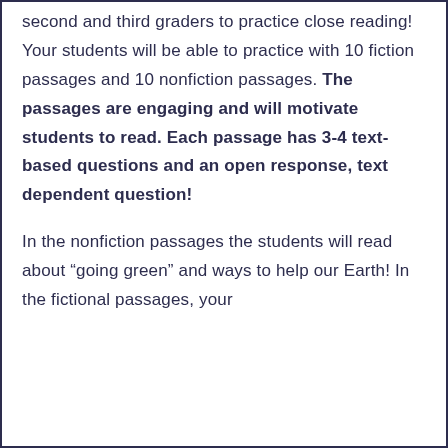second and third graders to practice close reading! Your students will be able to practice with 10 fiction passages and 10 nonfiction passages. The passages are engaging and will motivate students to read. Each passage has 3-4 text-based questions and an open response, text dependent question!
In the nonfiction passages the students will read about “going green” and ways to help our Earth! In the fictional passages, your